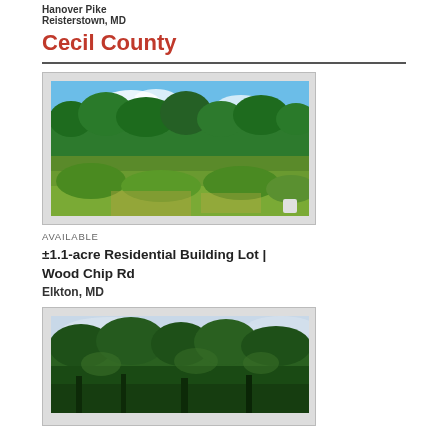Hanover Pike
Reisterstown, MD
Cecil County
AVAILABLE
[Figure (photo): Outdoor vacant land lot with green trees, shrubs and grass under a blue sky with white clouds]
±1.1-acre Residential Building Lot | Wood Chip Rd
Elkton, MD
[Figure (photo): Wooded area with dense green trees and overcast sky, vacant land listing]